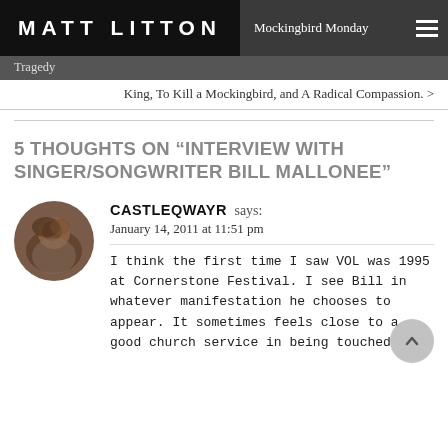MATT LITTON
Mockingbird Monday
Tragedy
King, To Kill a Mockingbird, and A Radical Compassion. >
5 THOUGHTS ON “INTERVIEW WITH SINGER/SONGWRITER BILL MALLONEE”
CASTLEQWAYR says:
January 14, 2011 at 11:51 pm
I think the first time I saw VOL was 1995 at Cornerstone Festival. I see Bill in whatever manifestation he chooses to appear. It sometimes feels close to a good church service in being touched